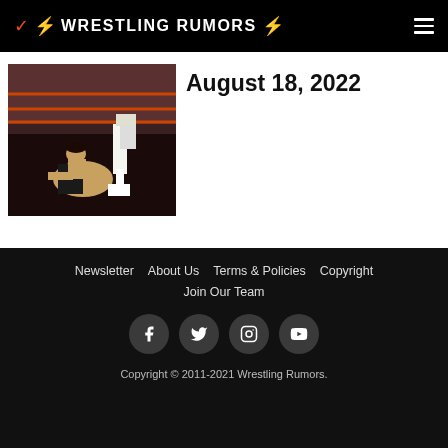WRESTLING RUMORS
[Figure (photo): Two wrestlers in a wrestling ring, one kneeling on the mat]
August 18, 2022
Newsletter   About Us   Terms & Policies   Copyright
Join Our Team
Copyright © 2011-2021 Wrestling Rumors.